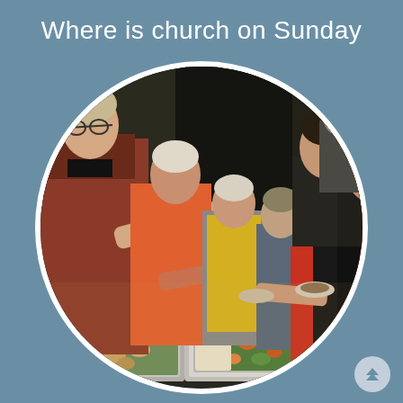Where is church on Sunday
[Figure (photo): A group of people serving themselves at an outdoor buffet table with chafing dishes. Multiple people of various ages are lined up getting food. A woman in an orange top and another in a dark jacket with red accents are prominent on the right side. The photo is displayed in a circular crop with a white border on a blue-grey background.]